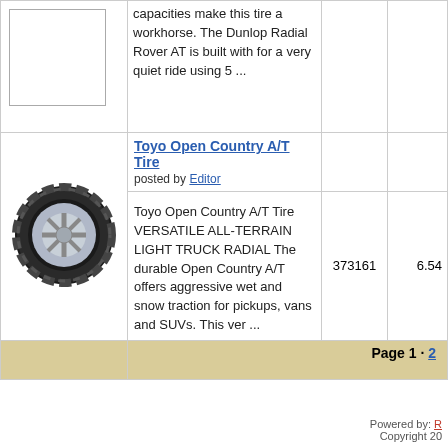[Figure (photo): Placeholder image box (top-left, partial previous product row)]
capacities make this tire a workhorse. The Dunlop Radial Rover AT is built with for a very quiet ride using 5 ...
Toyo Open Country A/T Tire — posted by Editor
[Figure (photo): Toyo Open Country A/T Tire product photo showing a black all-terrain tire with silver rim]
Toyo Open Country A/T Tire VERSATILE ALL-TERRAIN LIGHT TRUCK RADIAL The durable Open Country A/T offers aggressive wet and snow traction for pickups, vans and SUVs. This ver ...
373161
6.54
Page 1 · 2
Powered by: [R...] Copyright 20[...]